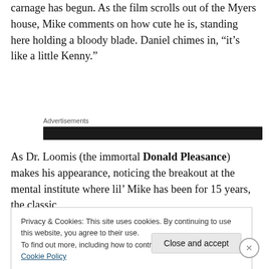carnage has begun. As the film scrolls out of the Myers house, Mike comments on how cute he is, standing here holding a bloody blade. Daniel chimes in, “it’s like a little Kenny.”
Advertisements
As Dr. Loomis (the immortal Donald Pleasance) makes his appearance, noticing the breakout at the mental institute where lil’ Mike has been for 15 years, the classic
Privacy & Cookies: This site uses cookies. By continuing to use this website, you agree to their use.
To find out more, including how to control cookies, see here: Cookie Policy
Close and accept